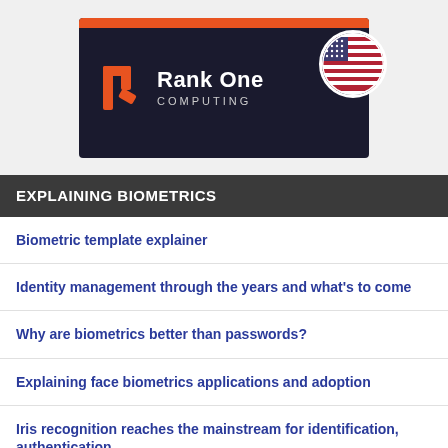[Figure (logo): Rank One Computing logo on dark navy background with orange bar at top and US flag circle badge]
EXPLAINING BIOMETRICS
Biometric template explainer
Identity management through the years and what's to come
Why are biometrics better than passwords?
Explaining face biometrics applications and adoption
Iris recognition reaches the mainstream for identification, authentication
More Biometrics Explainers >>>
[Figure (logo): BIOMETRIC partial text logo in white on blue background]